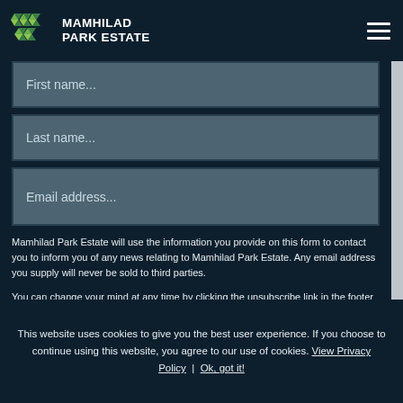[Figure (logo): Mamhilad Park Estate logo with geometric green diamond shapes and white text]
[Figure (other): Hamburger menu icon (three horizontal white lines)]
First name...
Last name...
Email address...
Mamhilad Park Estate will use the information you provide on this form to contact you to inform you of any news relating to Mamhilad Park Estate. Any email address you supply will never be sold to third parties.
You can change your mind at any time by clicking the unsubscribe link in the footer of any email you receive from us, or by contacting us at enquiries@ieuk.wales. We will treat your
This website uses cookies to give you the best user experience. If you choose to continue using this website, you agree to our use of cookies. View Privacy Policy | Ok, got it!